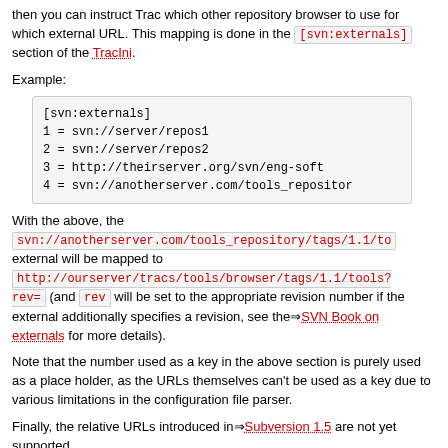then you can instruct Trac which other repository browser to use for which external URL. This mapping is done in the [svn:externals] section of the TracIni.
Example:
[svn:externals]
1 = svn://server/repos1
2 = svn://server/repos2
3 = http://theirserver.org/svn/eng-soft
4 = svn://anotherserver.com/tools_repositor
With the above, the svn://anotherserver.com/tools_repository/tags/1.1/to external will be mapped to http://ourserver/tracs/tools/browser/tags/1.1/tools?rev= (and rev will be set to the appropriate revision number if the external additionally specifies a revision, see the SVN Book on externals for more details).
Note that the number used as a key in the above section is purely used as a place holder, as the URLs themselves can't be used as a key due to various limitations in the configuration file parser.
Finally, the relative URLs introduced in Subversion 1.5 are not yet supported.
(since 0.11)